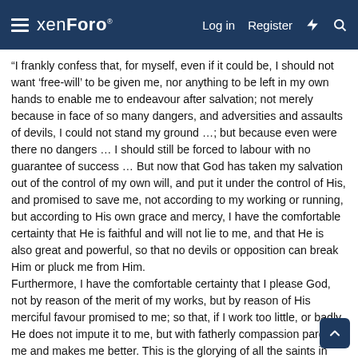xenForo  Log in  Register
“I frankly confess that, for myself, even if it could be, I should not want ‘free-will’ to be given me, nor anything to be left in my own hands to enable me to endeavour after salvation; not merely because in face of so many dangers, and adversities and assaults of devils, I could not stand my ground …; but because even were there no dangers … I should still be forced to labour with no guarantee of success … But now that God has taken my salvation out of the control of my own will, and put it under the control of His, and promised to save me, not according to my working or running, but according to His own grace and mercy, I have the comfortable certainty that He is faithful and will not lie to me, and that He is also great and powerful, so that no devils or opposition can break Him or pluck me from Him.
Furthermore, I have the comfortable certainty that I please God, not by reason of the merit of my works, but by reason of His merciful favour promised to me; so that, if I work too little, or badly, He does not impute it to me, but with fatherly compassion pardons me and makes me better. This is the glorying of all the saints in their God” (The Bondage of the Will).